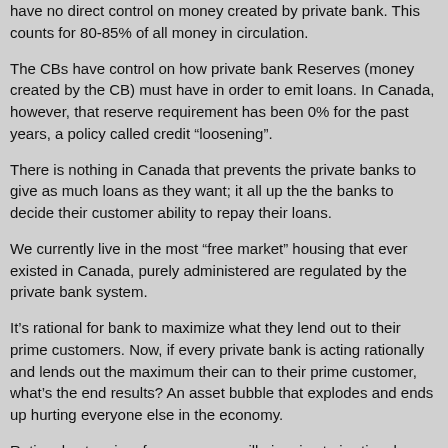have no direct control on money created by private bank. This counts for 80-85% of all money in circulation.
The CBs have control on how private bank Reserves (money created by the CB) must have in order to emit loans. In Canada, however, that reserve requirement has been 0% for the past years, a policy called credit “losening”.
There is nothing in Canada that prevents the private banks to give as much loans as they want; it all up the the banks to decide their customer ability to repay their loans.
We currently live in the most “free market” housing that ever existed in Canada, purely administered are regulated by the private bank system.
It’s rational for bank to maximize what they lend out to their prime customers. Now, if every private bank is acting rationally and lends out the maximum their can to their prime customer, what’s the end results? An asset bubble that explodes and ends up hurting everyone else in the economy.
Rational actors in a free economy will give rise to irrational results in the end. The field of economics that deals with this issues is named game theory. The prisoner’s dilemma is one of the best known example of